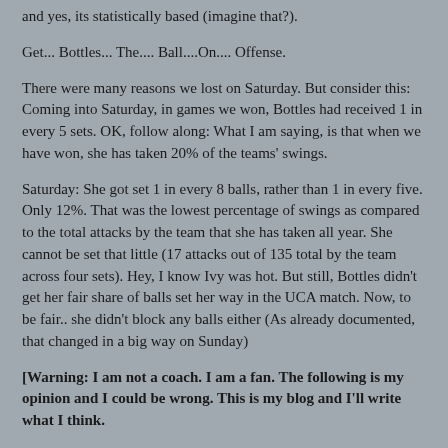and yes, its statistically based (imagine that?).
Get... Bottles... The.... Ball....On.... Offense.
There were many reasons we lost on Saturday. But consider this: Coming into Saturday, in games we won, Bottles had received 1 in every 5 sets. OK, follow along: What I am saying, is that when we have won, she has taken 20% of the teams' swings.
Saturday: She got set 1 in every 8 balls, rather than 1 in every five. Only 12%. That was the lowest percentage of swings as compared to the total attacks by the team that she has taken all year. She cannot be set that little (17 attacks out of 135 total by the team across four sets). Hey, I know Ivy was hot. But still, Bottles didn't get her fair share of balls set her way in the UCA match. Now, to be fair.. she didn't block any balls either (As already documented, that changed in a big way on Sunday)
[Warning: I am not a coach. I am a fan. The following is my opinion and I could be wrong. This is my blog and I'll write what I think.
Now, returning to regularly scheduled blogging:]